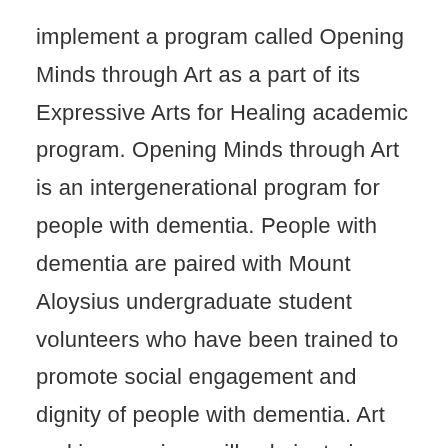implement a program called Opening Minds through Art as a part of its Expressive Arts for Healing academic program. Opening Minds through Art is an intergenerational program for people with dementia. People with dementia are paired with Mount Aloysius undergraduate student volunteers who have been trained to promote social engagement and dignity of people with dementia. Art making sessions will culminate in a gallery exhibition celebrating the artists' accomplishments while educating the public